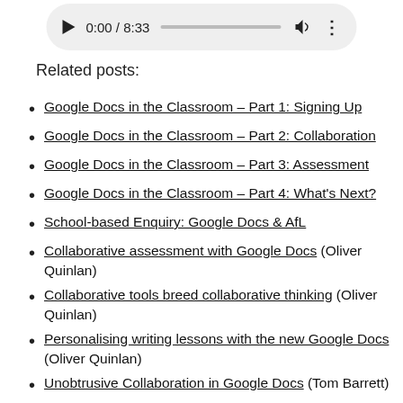[Figure (screenshot): Audio player bar showing play button, time 0:00 / 8:33, progress bar, volume icon, and menu dots]
Related posts:
Google Docs in the Classroom – Part 1: Signing Up
Google Docs in the Classroom – Part 2: Collaboration
Google Docs in the Classroom – Part 3: Assessment
Google Docs in the Classroom – Part 4: What's Next?
School-based Enquiry: Google Docs & AfL
Collaborative assessment with Google Docs (Oliver Quinlan)
Collaborative tools breed collaborative thinking (Oliver Quinlan)
Personalising writing lessons with the new Google Docs (Oliver Quinlan)
Unobtrusive Collaboration in Google Docs (Tom Barrett)
Marking work in Google Docs (Tom Barrett)